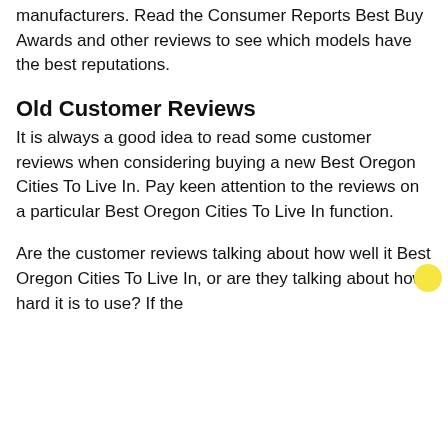manufacturers. Read the Consumer Reports Best Buy Awards and other reviews to see which models have the best reputations.
Old Customer Reviews
It is always a good idea to read some customer reviews when considering buying a new Best Oregon Cities To Live In. Pay keen attention to the reviews on a particular Best Oregon Cities To Live In function.
Are the customer reviews talking about how well it Best Oregon Cities To Live In, or are they talking about how hard it is to use? If the